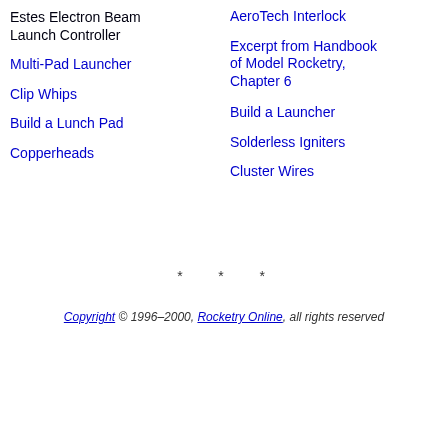Estes Electron Beam Launch Controller
AeroTech Interlock
Multi-Pad Launcher
Excerpt from Handbook of Model Rocketry, Chapter 6
Clip Whips
Build a Launcher
Build a Lunch Pad
Solderless Igniters
Copperheads
Cluster Wires
* * *
Copyright © 1996–2000, Rocketry Online, all rights reserved